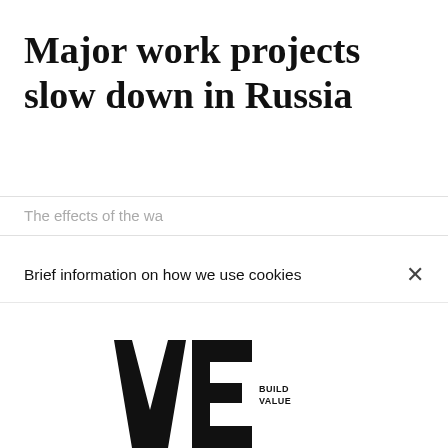Major work projects slow down in Russia
The effects of the wa
Brief information on how we use cookies
[Figure (logo): We Build Value logo — large stylized 'We' letters in black with 'BUILD VALUE' text in small caps to the right]